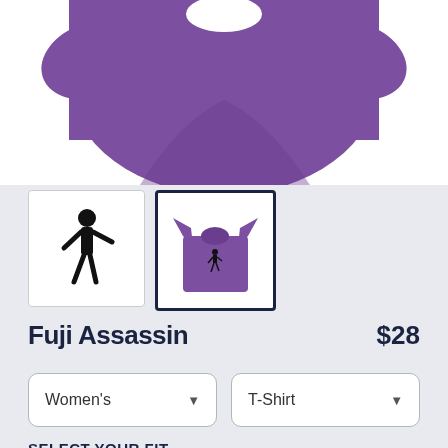[Figure (photo): Purple t-shirt product image on white background, partially cropped showing the upper portion of the shirt]
[Figure (photo): Small thumbnail: black ninja/warrior silhouette icon on white background]
[Figure (photo): Small thumbnail (selected, dark border): purple t-shirt full view]
Fuji Assassin
$28
Women's
T-Shirt
SELECT YOUR FIT
$28
Fitted
$28
Regular Unisex